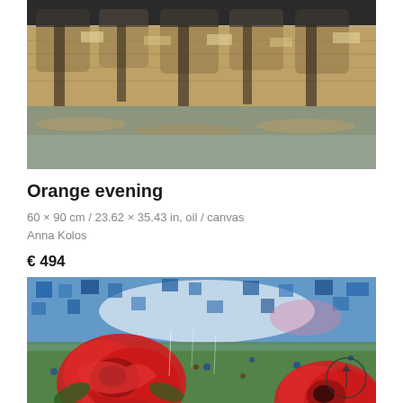[Figure (photo): Abstract painting 'Orange evening' showing a bridge or architectural structure reflected in water, with warm orange and brown tones, textured oil paint on canvas.]
Orange evening
60 × 90 cm / 23.62 × 35.43 in, oil / canvas
Anna Kolos
€ 494
[Figure (photo): Abstract floral painting with large red roses/poppies in the foreground against a blue, white and green impressionistic background with scattered blue flower accents. A circular arrow icon is visible in the lower right area.]